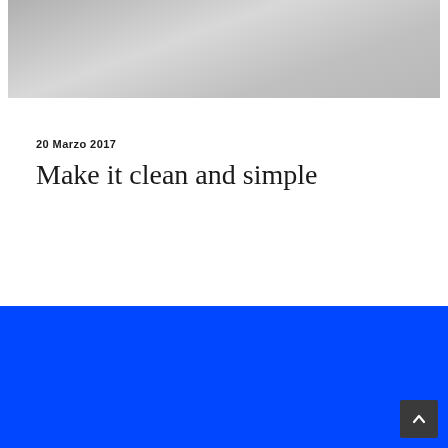[Figure (photo): Grayscale photo partially visible at the top of the page, showing a light-colored fabric or clothing.]
20 Marzo 2017
Make it clean and simple
[Figure (screenshot): Blue background section containing a light gray screenshot/content box, with a dark back-to-top arrow button in the bottom right corner.]